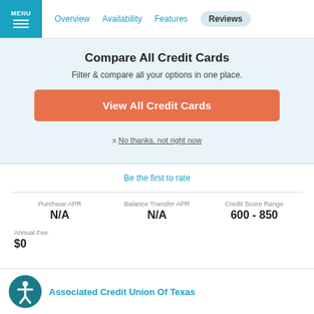MENU | Overview | Availability | Features | Reviews
Compare All Credit Cards
Filter & compare all your options in one place.
View All Credit Cards
x No thanks, not right now
Be the first to rate
| Purchase APR | Balance Transfer APR | Credit Score Range |
| --- | --- | --- |
| N/A | N/A | 600 - 850 |
| Annual Fee |
| --- |
| $0 |
Associated Credit Union Of Texas